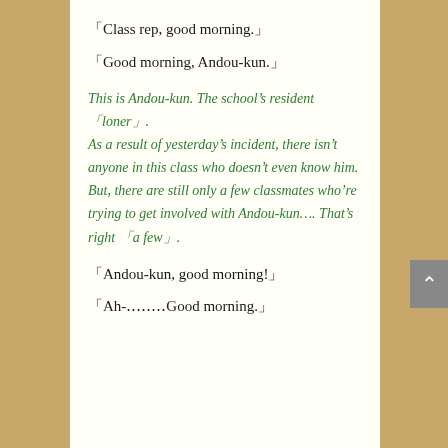「Class rep, good morning.」
「Good morning, Andou-kun.」
This is Andou-kun. The school’s resident「loner」. As a result of yesterday’s incident, there isn’t anyone in this class who doesn’t even know him. But, there are still only a few classmates who’re trying to get involved with Andou-kun…. That’s right 「a few」.
「Andou-kun, good morning!」
「Ah-……Good morning.」